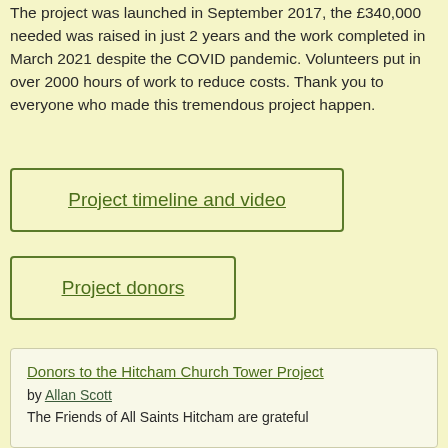The project was launched in September 2017, the £340,000 needed was raised in just 2 years and the work completed in March 2021 despite the COVID pandemic. Volunteers put in over 2000 hours of work to reduce costs. Thank you to everyone who made this tremendous project happen.
Project timeline and video
Project donors
Donors to the Hitcham Church Tower Project
by Allan Scott
The Friends of All Saints Hitcham are grateful